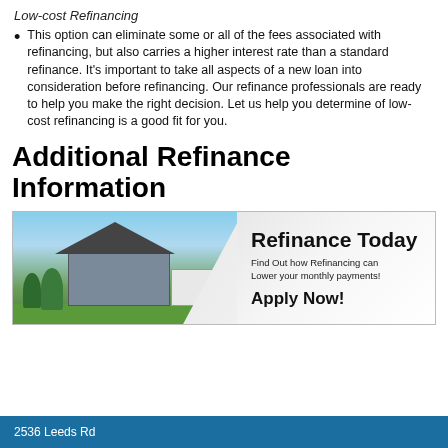Low-cost Refinancing
This option can eliminate some or all of the fees associated with refinancing, but also carries a higher interest rate than a standard refinance. It's important to take all aspects of a new loan into consideration before refinancing. Our refinance professionals are ready to help you make the right decision. Let us help you determine of low-cost refinancing is a good fit for you.
Additional Refinance Information
[Figure (photo): Promotional banner showing a house photo on the left with text 'Refinance Today', 'Find Out how Refinancing can Lower your monthly payments!', and 'Apply Now!' on the right side]
2536 Leeds Rd